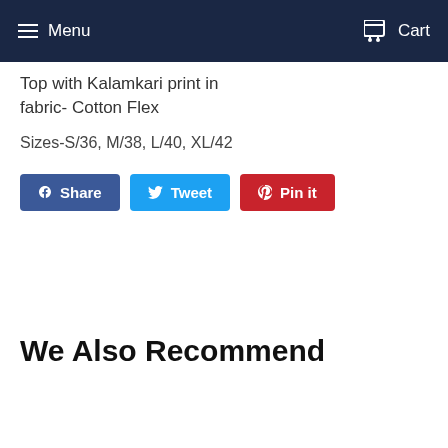Menu   Cart
Top with Kalamkari print in fabric- Cotton Flex
Sizes-S/36, M/38, L/40, XL/42
[Figure (other): Social share buttons: Share (Facebook, blue), Tweet (Twitter, light blue), Pin it (Pinterest, red)]
We Also Recommend